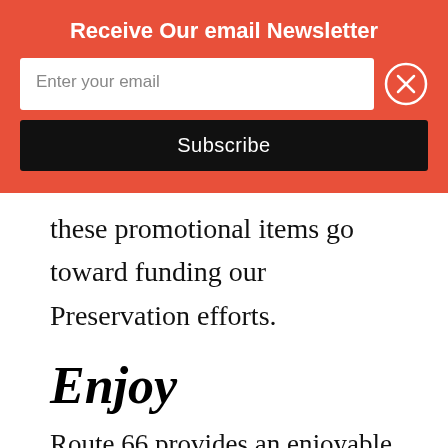Receive Our email Newsletter
[Figure (screenshot): Email newsletter signup form with text input 'Enter your email', a close (X) button, and a black 'Subscribe' button, on an orange-red background]
these promotional items go toward funding our Preservation efforts.
Enjoy
Route 66 provides an enjoyable experience for the whole family, combining the best of Americana and nostalgia! If you're looking for a unique destination in the Midwest chock-full